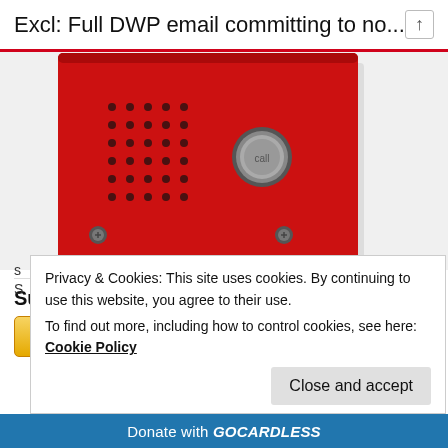Excl: Full DWP email committing to no...
[Figure (photo): Partial view of a red intercom/doorbell panel with dot matrix speaker grille and circular call button, mounted unit with two screws visible at bottom corners]
Support the SKWAWKBOX via PayPal
[Figure (logo): Donate with PayPal button - yellow/gold gradient button with PayPal logo in blue]
Privacy & Cookies: This site uses cookies. By continuing to use this website, you agree to their use.
To find out more, including how to control cookies, see here: Cookie Policy
Close and accept
Donate with GOCARDLESS